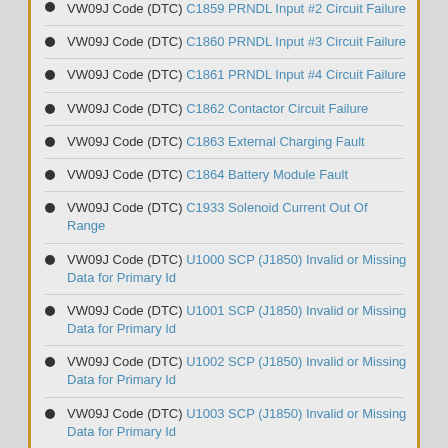VW09J Code (DTC) C1859 PRNDL Input #2 Circuit Failure
VW09J Code (DTC) C1860 PRNDL Input #3 Circuit Failure
VW09J Code (DTC) C1861 PRNDL Input #4 Circuit Failure
VW09J Code (DTC) C1862 Contactor Circuit Failure
VW09J Code (DTC) C1863 External Charging Fault
VW09J Code (DTC) C1864 Battery Module Fault
VW09J Code (DTC) C1933 Solenoid Current Out Of Range
VW09J Code (DTC) U1000 SCP (J1850) Invalid or Missing Data for Primary Id
VW09J Code (DTC) U1001 SCP (J1850) Invalid or Missing Data for Primary Id
VW09J Code (DTC) U1002 SCP (J1850) Invalid or Missing Data for Primary Id
VW09J Code (DTC) U1003 SCP (J1850) Invalid or Missing Data for Primary Id
VW09J Code (DTC) U1004 SCP (J1850) Invalid or Missing Data for EEC Programming